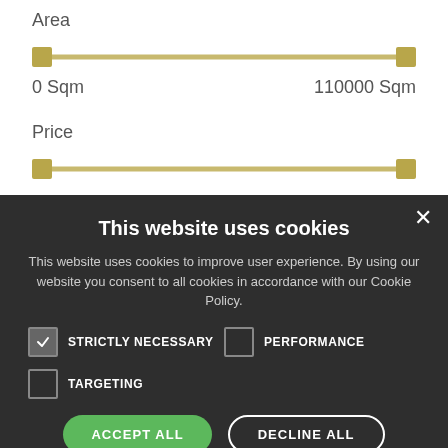Area
[Figure (infographic): A range slider showing Area from 0 Sqm to 110000 Sqm with both handles at the extremes]
0 Sqm   110000 Sqm
Price
[Figure (infographic): Partial range slider showing Price filter, cut off at the bottom]
This website uses cookies
This website uses cookies to improve user experience. By using our website you consent to all cookies in accordance with our Cookie Policy.
STRICTLY NECESSARY (checked)
PERFORMANCE (unchecked)
TARGETING (unchecked)
ACCEPT ALL
DECLINE ALL
SHOW DETAILS